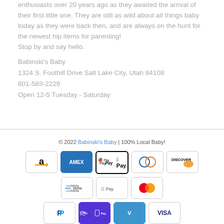enthusiasts over 20 years ago as they awaited the arrival of their first little one. They are still as wild about all things baby today as they were back then, and are always on the hunt for the newest hip items for parenting! Stop by and say hello.
Babinski's Baby
1324 S. Foothill Drive Salt Lake City, Utah 84108
801-583-2229
Open 12-5 Tuesday - Saturday
© 2022 Babinski's Baby | 100% Local Baby!
[Figure (other): Payment method icons: Amazon, AMEX, Apple Pay, Diners Club, Discover, Meta Pay, Google Pay, Mastercard, PayPal, Samsung Pay, Venmo, VISA]